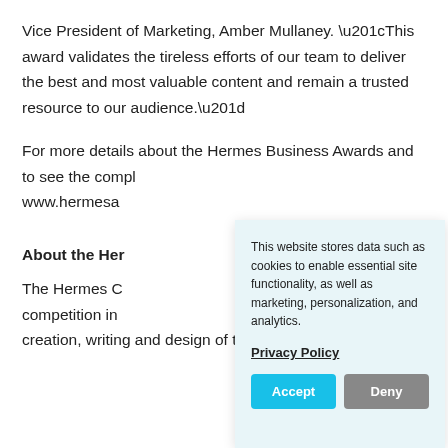Vice President of Marketing, Amber Mullaney. “This award validates the tireless efforts of our team to deliver the best and most valuable content and remain a trusted resource to our audience.”
For more details about the Hermes Business Awards and to see the compl… www.hermesa…
About the Her…
The Hermes C… competition in… creation, writing and design of traditional and emerging
This website stores data such as cookies to enable essential site functionality, as well as marketing, personalization, and analytics.

Privacy Policy

Accept   Deny